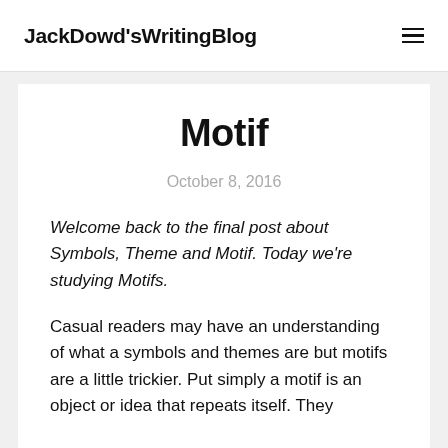JackDowd'sWritingBlog
Motif
October 8, 2016
Welcome back to the final post about Symbols, Theme and Motif. Today we're studying Motifs.
Casual readers may have an understanding of what a symbols and themes are but motifs are a little trickier. Put simply a motif is an object or idea that repeats itself. They